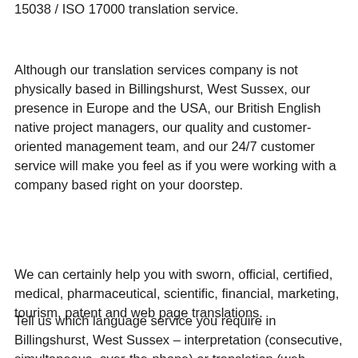15038 / ISO 17000 translation service.
Although our translation services company is not physically based in Billingshurst, West Sussex, our presence in Europe and the USA, our British English native project managers, our quality and customer-oriented management team, and our 24/7 customer service will make you feel as if you were working with a company based right on your doorstep.
We can certainly help you with sworn, official, certified, medical, pharmaceutical, scientific, financial, marketing, tourism, patent and web page translations.
Tell us which language service you require in Billingshurst, West Sussex – interpretation (consecutive, simultaneous, over-the-phone) or translation (web pages, business...